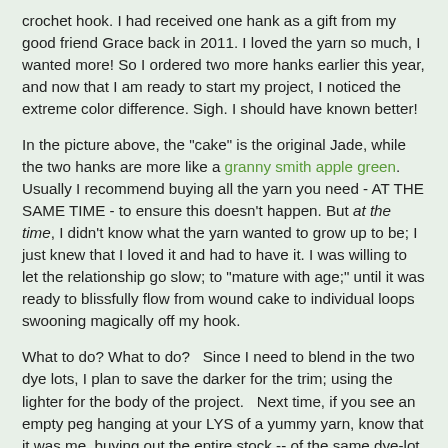crochet hook. I had received one hank as a gift from my good friend Grace back in 2011. I loved the yarn so much, I wanted more! So I ordered two more hanks earlier this year, and now that I am ready to start my project, I noticed the extreme color difference. Sigh. I should have known better!
In the picture above, the "cake" is the original Jade, while the two hanks are more like a granny smith apple green. Usually I recommend buying all the yarn you need - AT THE SAME TIME - to ensure this doesn't happen. But at the time, I didn't know what the yarn wanted to grow up to be; I just knew that I loved it and had to have it. I was willing to let the relationship go slow; to "mature with age;" until it was ready to blissfully flow from wound cake to individual loops swooning magically off my hook.
What to do? What to do? Since I need to blend in the two dye lots, I plan to save the darker for the trim; using the lighter for the body of the project. Next time, if you see an empty peg hanging at your LYS of a yummy yarn, know that it was me, buying out the entire stock -- of the same dye-lot. :)